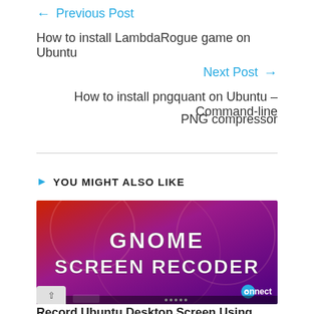← Previous Post
How to install LambdaRogue game on Ubuntu
Next Post →
How to install pngquant on Ubuntu – Command-line PNG compressor
YOU MIGHT ALSO LIKE
[Figure (photo): Gnome Screen Recoder thumbnail image with purple/red gradient background and 'Connect' watermark logo]
Record Ubuntu Desktop Screen Using Hidden...